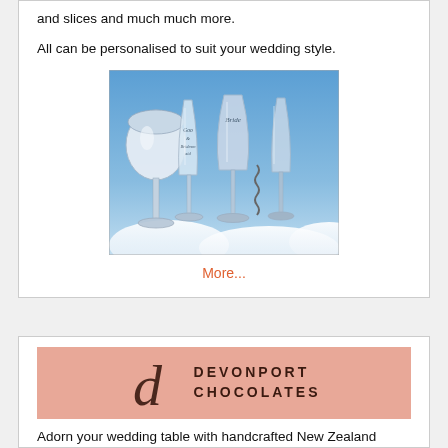and slices and much much more.
All can be personalised to suit your wedding style.
[Figure (photo): Four personalised wedding glasses (goblets and champagne flutes) against a blue sky, with text engraved on them including 'Bride' and 'Groom & Bridesmaid']
More...
[Figure (logo): Devonport Chocolates logo on a salmon/peach background with a stylized 'd' symbol and text 'DEVONPORT CHOCOLATES']
Adorn your wedding table with handcrafted New Zealand truffles and chocolates, the perfect way to